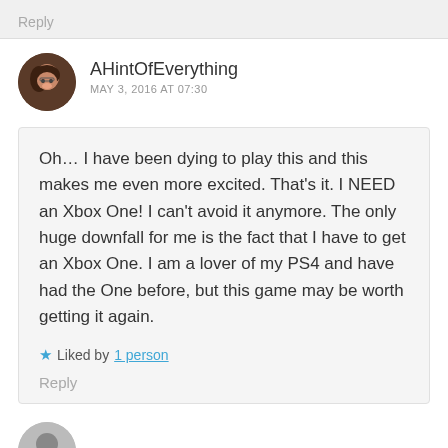Reply
AHintOfEverything
MAY 3, 2016 AT 07:30
Oh… I have been dying to play this and this makes me even more excited. That's it. I NEED an Xbox One! I can't avoid it anymore. The only huge downfall for me is the fact that I have to get an Xbox One. I am a lover of my PS4 and have had the One before, but this game may be worth getting it again.
Liked by 1 person
Reply